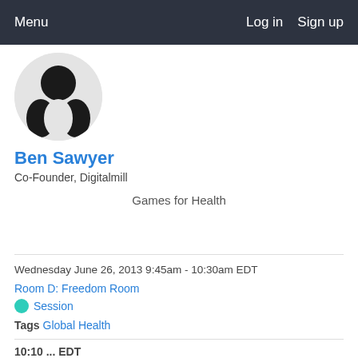Menu   Log in   Sign up
[Figure (photo): Circular avatar image showing a silhouette icon with black shapes on grey background]
Ben Sawyer
Co-Founder, Digitalmill
Games for Health
Wednesday June 26, 2013 9:45am - 10:30am EDT
Room D: Freedom Room
Session
Tags Global Health